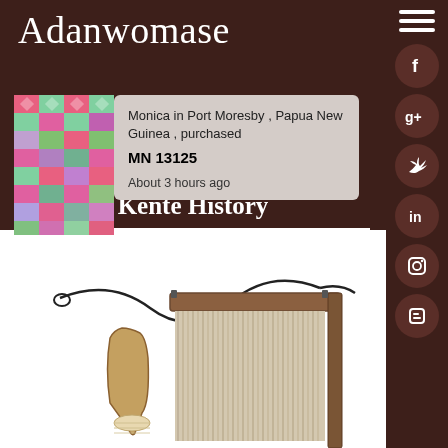Adanwomase
Monica in Port Moresby , Papua New Guinea , purchased
MN 13125
About 3 hours ago
Kente History
[Figure (photo): Kente woven fabric thumbnail showing colorful pink, green, and purple geometric pattern]
[Figure (photo): Traditional African weaving loom made of wood with threads and cord attached]